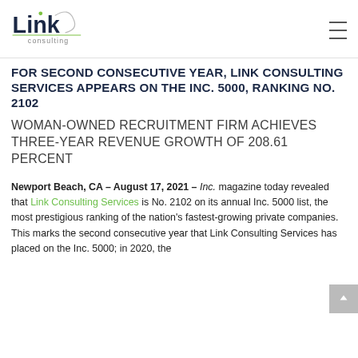Link Consulting [logo]
FOR SECOND CONSECUTIVE YEAR, LINK CONSULTING SERVICES APPEARS ON THE INC. 5000, RANKING NO. 2102
WOMAN-OWNED RECRUITMENT FIRM ACHIEVES THREE-YEAR REVENUE GROWTH OF 208.61 PERCENT
Newport Beach, CA – August 17, 2021 – Inc. magazine today revealed that Link Consulting Services is No. 2102 on its annual Inc. 5000 list, the most prestigious ranking of the nation's fastest-growing private companies. This marks the second consecutive year that Link Consulting Services has placed on the Inc. 5000; in 2020, the